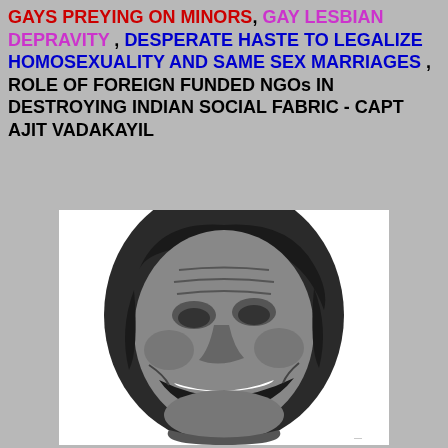GAYS PREYING ON MINORS, GAY LESBIAN DEPRAVITY , DESPERATE HASTE TO LEGALIZE HOMOSEXUALITY AND SAME SEX MARRIAGES , ROLE OF FOREIGN FUNDED NGOs IN DESTROYING INDIAN SOCIAL FABRIC - CAPT AJIT VADAKAYIL
[Figure (illustration): Black and white illustration of a grotesque distorted face with exaggerated features, appearing demonic or monstrous]